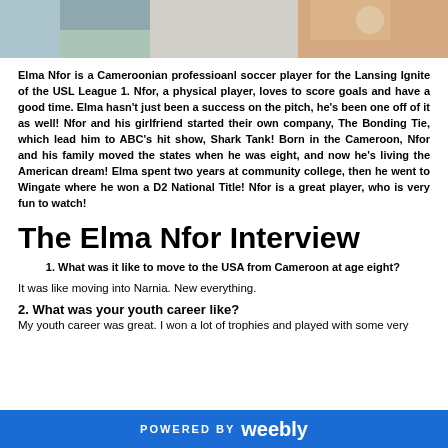[Figure (photo): Photo strip showing soccer players at the top of the page]
Elma Nfor is a Cameroonian professioanl soccer player for the Lansing Ignite of the USL League 1. Nfor, a physical player, loves to score goals and have a good time. Elma hasn't just been a success on the pitch, he's been one off of it as well! Nfor and his girlfriend started their own company, The Bonding Tie, which lead him to ABC's hit show, Shark Tank! Born in the Cameroon, Nfor and his family moved the states when he was eight, and now he's living the American dream! Elma spent two years at community college, then he went to Wingate where he won a D2 National Title! Nfor is a great player, who is very fun to watch!
The Elma Nfor Interview
What was it like to move to the USA from Cameroon at age eight?
It was like moving into Narnia. New everything.
2. What was your youth career like?
My youth career was great. I won a lot of trophies and played with some very
POWERED BY weebly